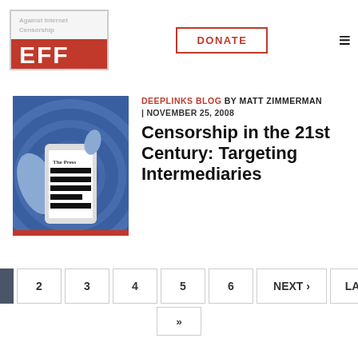[Figure (logo): EFF logo - Electronic Frontier Foundation red text logo with text 'Against Internet Censorship' partially visible]
DONATE | menu icon
[Figure (illustration): Blue illustration showing hands holding a smartphone with redacted newspaper content]
DEEPLINKS BLOG BY MATT ZIMMERMAN | NOVEMBER 25, 2008
Censorship in the 21st Century: Targeting Intermediaries
1 2 3 4 5 6 NEXT > LAST >>